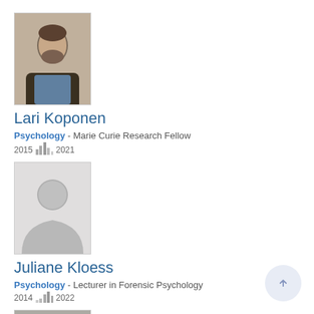[Figure (photo): Headshot photo of Lari Koponen, a bearded man in a dark jacket and blue shirt]
Lari Koponen
Psychology - Marie Curie Research Fellow 2015 … 2021
[Figure (photo): Default placeholder silhouette photo for Juliane Kloess]
Juliane Kloess
Psychology - Lecturer in Forensic Psychology 2014 … 2022
[Figure (photo): Headshot photo of Mirali Khatibi Tabatabaei, a man in a grey shirt]
Mirali Khatibi Tabatabaei